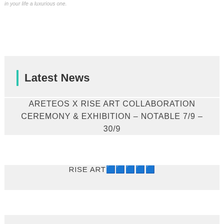in your life a luxurious one.
Latest News
ARETEOS X RISE ART COLLABORATION CEREMONY & EXHIBITION – NOTABLE 7/9 – 30/9
RISE ART🟦🟦🟦🟦🟦